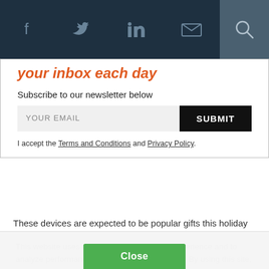Navigation bar with social icons: Facebook, Twitter, LinkedIn, Email, Search
your inbox each day
Subscribe to our newsletter below
YOUR EMAIL [input field] SUBMIT [button]
I accept the Terms and Conditions and Privacy Policy.
These devices are expected to be popular gifts this holiday
This website uses cookies to enhance user experience and to analyze performance and traffic on our website. By using this site, you agree to the use of cookies. You may change your cookie settings at any time, but the site may not function properly. Cookie Policy
Close